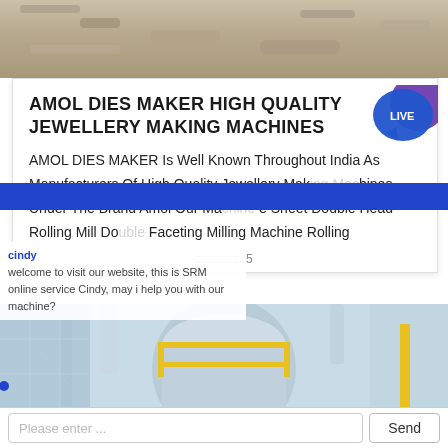[Figure (photo): Top background photo showing rough gravel or stone surface texture]
AMOL DIES MAKER HIGH QUALITY JEWELLERY MAKING MACHINES
[Figure (logo): LIVE badge logo in top right corner, blue and purple circular design with LIVE text]
AMOL DIES MAKER Is Well Known Throughout India As Manufacturers Of High Quality Jewellery Making Machines Under The Brand Amol Our Machines Sheet Double Head Rolling Mill Double Faceting Milling Machine Rolling Mill Р...
cindy
welcome to visit our website, this is SRM online service Cindy, may i help you with our machine?
[Figure (photo): Bottom industrial factory interior photo showing machinery, pipes, silos with yellow railings in blue-toned setting]
Please enter ...
Send